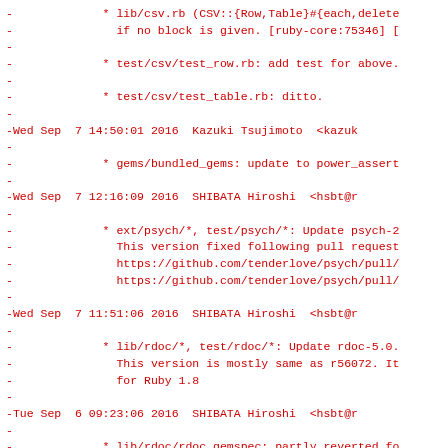- * lib/csv.rb (CSV::{Row,Table}#{each,delete
-           if no block is given. [ruby-core:75346] [
-
-           * test/csv/test_row.rb: add test for above.
-
-           * test/csv/test_table.rb: ditto.
-
-Wed Sep  7 14:50:01 2016  Kazuki Tsujimoto  <kazuk
-
-           * gems/bundled_gems: update to power_assert
-
-Wed Sep  7 12:16:09 2016  SHIBATA Hiroshi  <hsbt@r
-
-           * ext/psych/*, test/psych/*: Update psych-2
-             This version fixed following pull request
-             https://github.com/tenderlove/psych/pull/
-             https://github.com/tenderlove/psych/pull/
-
-Wed Sep  7 11:51:06 2016  SHIBATA Hiroshi  <hsbt@r
-
-           * lib/rdoc/*, test/rdoc/*: Update rdoc-5.0.
-             This version is mostly same as r56072. It
-             for Ruby 1.8
-
-Tue Sep  6 09:23:06 2016  SHIBATA Hiroshi  <hsbt@r
-
-           * lib/rdoc/rdoc.gemspec: partly reverted fo
-             upstream configuration is not working on
-
-Mon Sep  5 19:35:22 2016  SHIBATA Hiroshi  <hsbt@